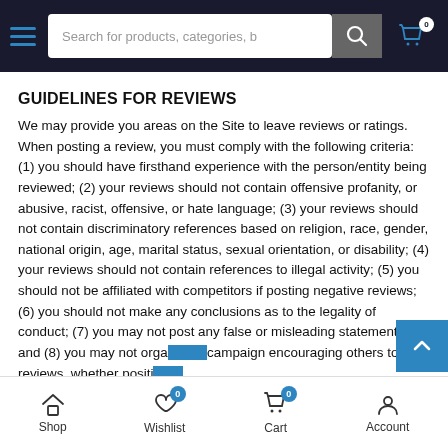Search for products, categories, b
GUIDELINES FOR REVIEWS
We may provide you areas on the Site to leave reviews or ratings. When posting a review, you must comply with the following criteria: (1) you should have firsthand experience with the person/entity being reviewed; (2) your reviews should not contain offensive profanity, or abusive, racist, offensive, or hate language; (3) your reviews should not contain discriminatory references based on religion, race, gender, national origin, age, marital status, sexual orientation, or disability; (4) your reviews should not contain references to illegal activity; (5) you should not be affiliated with competitors if posting negative reviews; (6) you should not make any conclusions as to the legality of conduct; (7) you may not post any false or misleading statements; and (8) you may not organize a campaign encouraging others to post reviews, whether positive or
Shop | Wishlist 0 | Cart 0 | Account